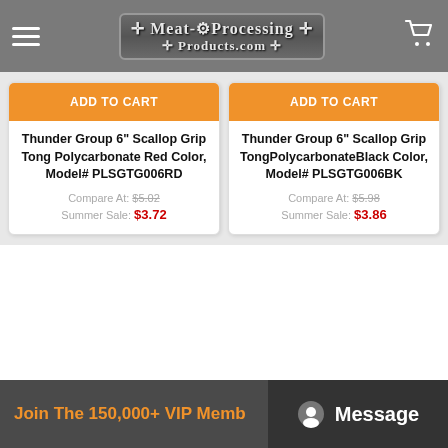Meat-Processing Products.com
ADD TO CART
Thunder Group 6" Scallop Grip Tong Polycarbonate Red Color, Model# PLSGTG006RD
Compare At: $5.02
Summer Sale: $3.72
ADD TO CART
Thunder Group 6" Scallop Grip TongPolycarbonateBlack Color, Model# PLSGTG006BK
Compare At: $5.98
Summer Sale: $3.86
Join The 150,000+ VIP Memb   Message